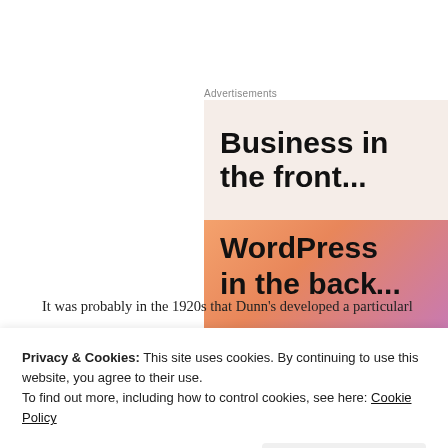Advertisements
[Figure (illustration): Advertisement banner showing 'Business in the front...' text on a cream/beige background top half, and 'WordPress in the back...' text on an orange/pink gradient bottom half.]
It was probably in the 1920s that Dunn's developed a particularl...
Privacy & Cookies: This site uses cookies. By continuing to use this website, you agree to their use.
To find out more, including how to control cookies, see here: Cookie Policy
Close and accept